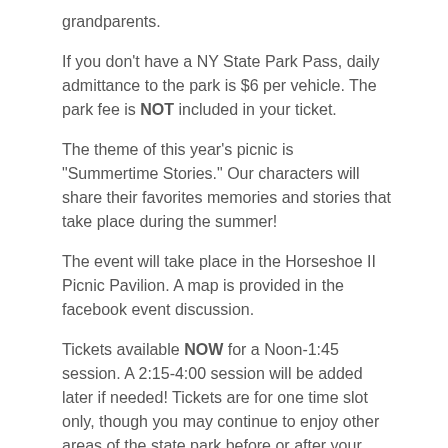grandparents.
If you don't have a NY State Park Pass, daily admittance to the park is $6 per vehicle. The park fee is NOT included in your ticket.
The theme of this year's picnic is "Summertime Stories." Our characters will share their favorites memories and stories that take place during the summer!
The event will take place in the Horseshoe II Picnic Pavilion. A map is provided in the facebook event discussion.
Tickets available NOW for a Noon-1:45 session. A 2:15-4:00 session will be added later if needed! Tickets are for one time slot only, though you may continue to enjoy other areas of the state park before or after your scheduled time! Since venue capacity is limited, we politely request that you do not buy tickets to both times. Performances and activities are identical for both sessions.
We encourage families to bring picnic blankets and folding chairs to allow for additional distancing. Feel